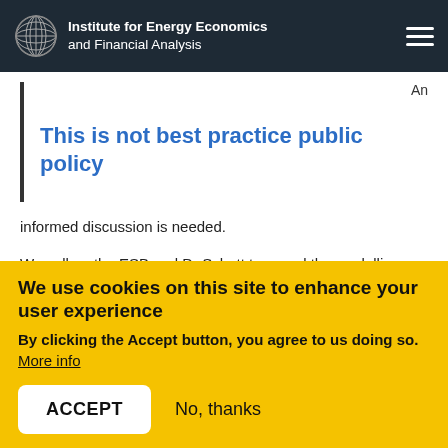Institute for Energy Economics and Financial Analysis
An
This is not best practice public policy
informed discussion is needed.
We call on the ESB and Dr Schott to reveal the modelling
We use cookies on this site to enhance your user experience
By clicking the Accept button, you agree to us doing so.  More info
ACCEPT   No, thanks